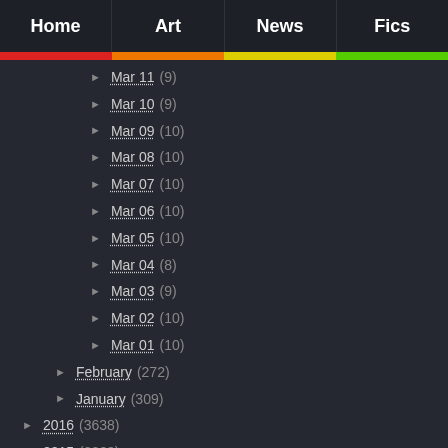Home | Art | News | Fics
Mar 11 (9)
Mar 10 (9)
Mar 09 (10)
Mar 08 (10)
Mar 07 (10)
Mar 06 (10)
Mar 05 (10)
Mar 04 (8)
Mar 03 (9)
Mar 02 (10)
Mar 01 (10)
February (272)
January (309)
2016 (3638)
2015 (2068)